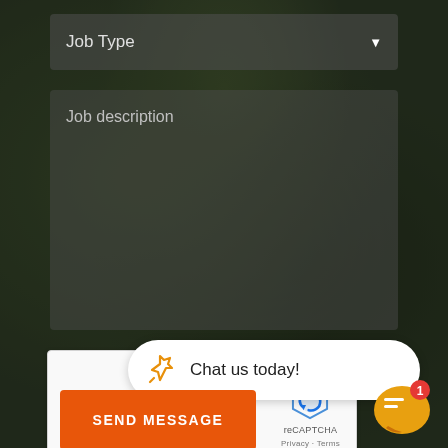[Figure (screenshot): Job Type dropdown input field with dark semi-transparent background over nature photo]
[Figure (screenshot): Job description text area input with dark semi-transparent background]
[Figure (screenshot): reCAPTCHA widget with checkbox 'I'm not a robot' and reCAPTCHA logo with Privacy and Terms links]
Chat us today!
SEND MESSAGE